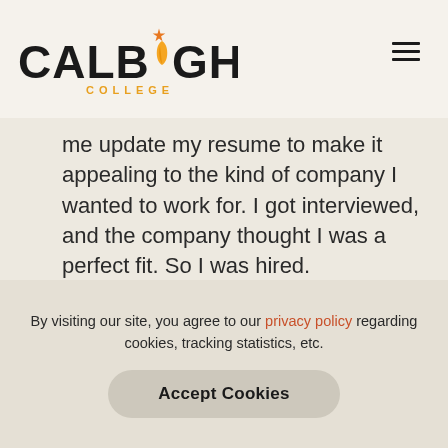CALBRIGHT COLLEGE
me update my resume to make it appealing to the kind of company I wanted to work for. I got interviewed, and the company thought I was a perfect fit. So I was hired.
If none of the robots are malfunctioning, I can use my Chromebook and wi-fi hotspot to study in my car, and that's what I do. I would like to work with really big technology infrastructures and
By visiting our site, you agree to our privacy policy regarding cookies, tracking statistics, etc.
Accept Cookies